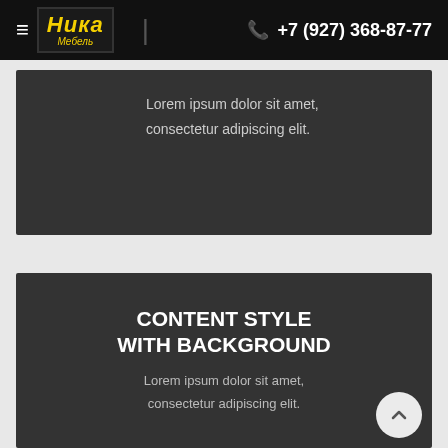≡  Ника Мебель  |  +7 (927) 368-87-77
Lorem ipsum dolor sit amet, consectetur adipiscing elit.
CONTENT STYLE WITH BACKGROUND
Lorem ipsum dolor sit amet, consectetur adipiscing elit.